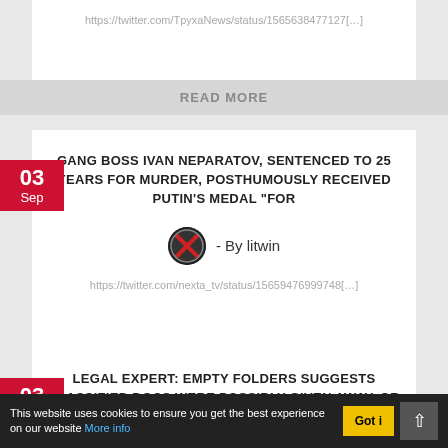https://twitter.com/TpyxaNews/status/1565638477127[…]
READ MORE
GANG BOSS IVAN NEPARATOV, SENTENCED TO 25 YEARS FOR MURDER, POSTHUMOUSLY RECEIVED PUTIN'S MEDAL "FOR
- By litwin
https://twitter.com/nexta_tv/status/1565947699974​8[…]
READ MORE
LEGAL EXPERT: EMPTY FOLDERS SUGGESTS CLASSIFIED DOCS WERE POSSIBLY GIVEN AWAY, OR SOLD. WTF !
By Sandook
This website uses cookies to ensure you get the best experience on our website More info